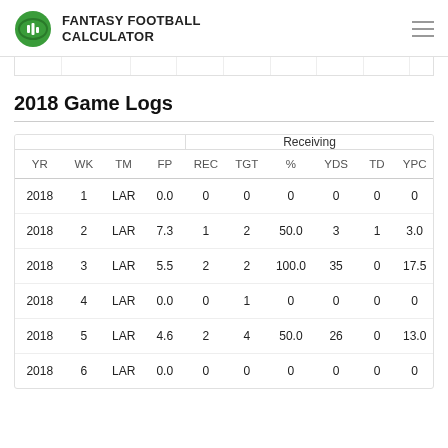FANTASY FOOTBALL CALCULATOR
2018 Game Logs
| YR | WK | TM | FP | REC | TGT | % | YDS | TD | YPC |
| --- | --- | --- | --- | --- | --- | --- | --- | --- | --- |
| 2018 | 1 | LAR | 0.0 | 0 | 0 | 0 | 0 | 0 | 0 |
| 2018 | 2 | LAR | 7.3 | 1 | 2 | 50.0 | 3 | 1 | 3.0 |
| 2018 | 3 | LAR | 5.5 | 2 | 2 | 100.0 | 35 | 0 | 17.5 |
| 2018 | 4 | LAR | 0.0 | 0 | 1 | 0 | 0 | 0 | 0 |
| 2018 | 5 | LAR | 4.6 | 2 | 4 | 50.0 | 26 | 0 | 13.0 |
| 2018 | 6 | LAR | 0.0 | 0 | 0 | 0 | 0 | 0 | 0 |